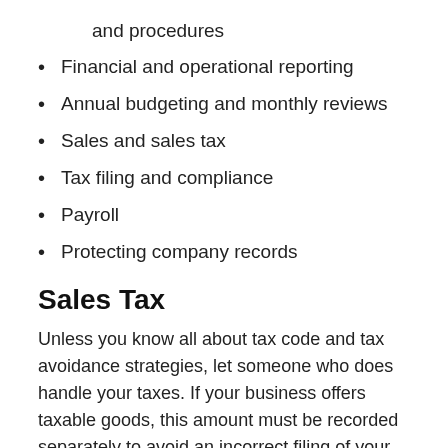and procedures
Financial and operational reporting
Annual budgeting and monthly reviews
Sales and sales tax
Tax filing and compliance
Payroll
Protecting company records
Sales Tax
Unless you know all about tax code and tax avoidance strategies, let someone who does handle your taxes. If your business offers taxable goods, this amount must be recorded separately to avoid an incorrect filing of your sales tax return. When